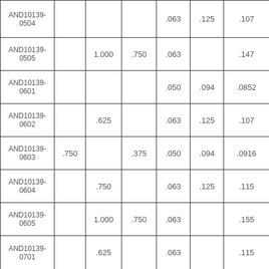| ID | Col2 | Col3 | Col4 | Col5 | Col6 | Col7 |
| --- | --- | --- | --- | --- | --- | --- |
| AND10139-0504 |  |  |  | .063 | .125 | .107 |
| AND10139-0505 |  | 1.000 | .750 | .063 |  | .147 |
| AND10139-0601 |  |  |  | .050 | .094 | .0852 |
| AND10139-0602 |  | .625 |  | .063 | .125 | .107 |
| AND10139-0603 | .750 |  | .375 | .050 | .094 | .0916 |
| AND10139-0604 |  | .750 |  | .063 | .125 | .115 |
| AND10139-0605 |  | 1.000 | .750 | .063 |  | .155 |
| AND10139-0701 |  | .625 |  | .063 |  | .115 |